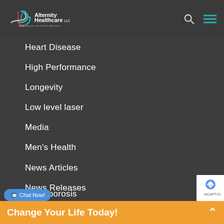[Figure (logo): Alternity Healthcare LLC logo with teal and red swoosh graphic and tagline: Age Management • Optimal Health • Rejuvenation]
Heart Disease
High Performance
Longevity
Low level laser
Media
Men's Health
News Articles
News Releases
Nutrition
Obesity
Osteoporosis
Change Your Life Today!